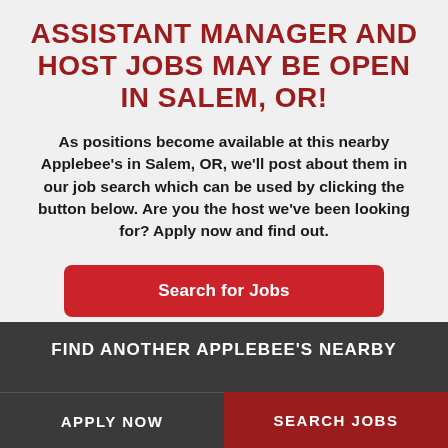ASSISTANT MANAGER AND HOST JOBS MAY BE OPEN IN SALEM, OR!
As positions become available at this nearby Applebee's in Salem, OR, we'll post about them in our job search which can be used by clicking the button below. Are you the host we've been looking for? Apply now and find out.
[Figure (other): Red button labeled 'Search for Jobs']
FIND ANOTHER APPLEBEE'S NEARBY
APPLY NOW
SEARCH JOBS